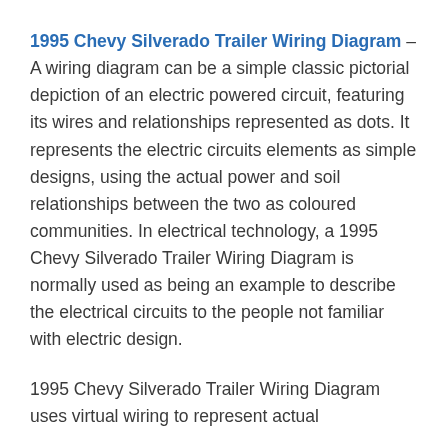1995 Chevy Silverado Trailer Wiring Diagram – A wiring diagram can be a simple classic pictorial depiction of an electric powered circuit, featuring its wires and relationships represented as dots. It represents the electric circuits elements as simple designs, using the actual power and soil relationships between the two as coloured communities. In electrical technology, a 1995 Chevy Silverado Trailer Wiring Diagram is normally used as being an example to describe the electrical circuits to the people not familiar with electric design.
1995 Chevy Silverado Trailer Wiring Diagram uses virtual wiring to represent actual